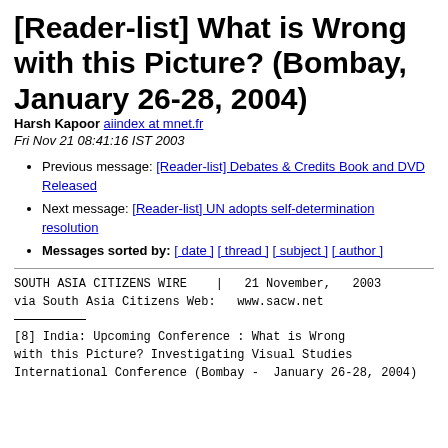[Reader-list] What is Wrong with this Picture? (Bombay, January 26-28, 2004)
Harsh Kapoor aiindex at mnet.fr
Fri Nov 21 08:41:16 IST 2003
Previous message: [Reader-list] Debates & Credits Book and DVD Released
Next message: [Reader-list] UN adopts self-determination resolution
Messages sorted by: [ date ] [ thread ] [ subject ] [ author ]
SOUTH ASIA CITIZENS WIRE    |   21 November,   2003
via South Asia Citizens Web:   www.sacw.net
[8] India: Upcoming Conference : What is Wrong
with this Picture? Investigating Visual Studies
International Conference (Bombay -  January 26-28, 2004)